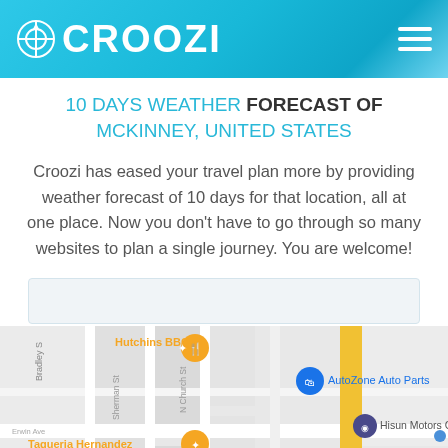CROOZI
10 DAYS WEATHER FORECAST OF MCKINNEY, UNITED STATES
Croozi has eased your travel plan more by providing weather forecast of 10 days for that location, all at one place. Now you don't have to go through so many websites to plan a single journey. You are welcome!
[Figure (map): Google Maps view of McKinney, United States showing streets including Bradley St, Sherman St, N Church St and landmarks: Hutchins BBQ, AutoZone Auto Parts, Hisun Motors Corp. USA, Taqueria Hernandez, O'Reilly Auto Parts, Sauls Wreck Service, El Rancho Supermercado. Roads include E Univ Dr W highlighted in yellow.]